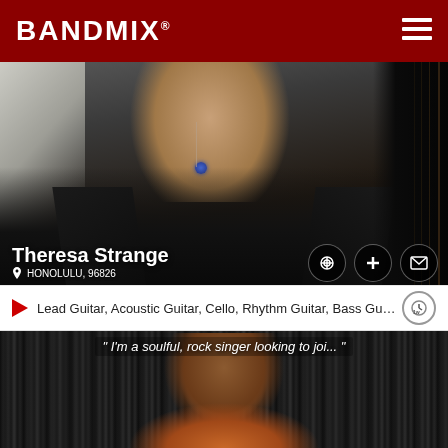BANDMIX®
[Figure (photo): Profile photo of Theresa Strange, showing neck and upper chest area with a blue pendant necklace, white hair visible on left, dark jacket, cello visible on right side]
Theresa Strange
HONOLULU, 96826
Lead Guitar, Acoustic Guitar, Cello, Rhythm Guitar, Bass Guitar, Do...
[Figure (photo): Profile photo of a smiling woman with long brown hair wearing an orange turtleneck sweater, standing in front of a black tinsel curtain backdrop]
" I'm a soulful, rock singer looking to joi... "